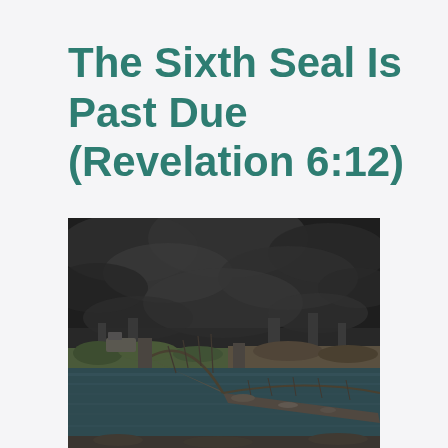The Sixth Seal Is Past Due (Revelation 6:12)
[Figure (photo): A collapsed or heavily damaged suspension bridge over dark water, with massive dark smoke billowing across the sky in the background. The scene depicts destruction and catastrophe.]